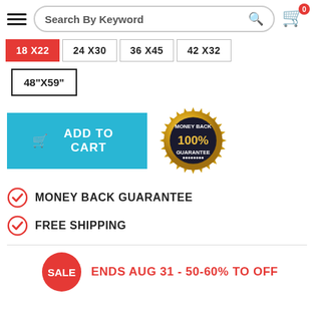Search By Keyword
18 X22
24 X30
36 X45
42 X32
48"X59"
[Figure (other): Add to Cart button (blue) and Money Back Guarantee 100% gold seal badge]
MONEY BACK GUARANTEE
FREE SHIPPING
SALE ENDS AUG 31 - 50-60% TO OFF